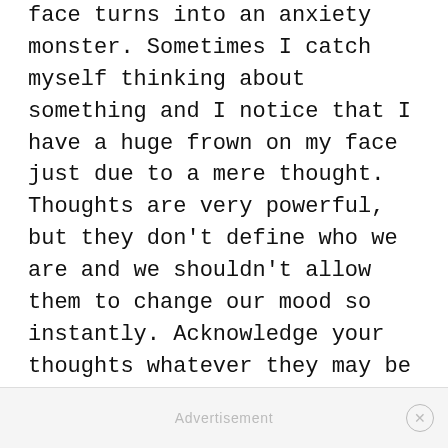face turns into an anxiety monster. Sometimes I catch myself thinking about something and I notice that I have a huge frown on my face just due to a mere thought. Thoughts are very powerful, but they don't define who we are and we shouldn't allow them to change our mood so instantly. Acknowledge your thoughts whatever they may be and then smile. One of my favourite things to do is to smile at a complete stranger because you never know how it will impact their day.
Advertisement